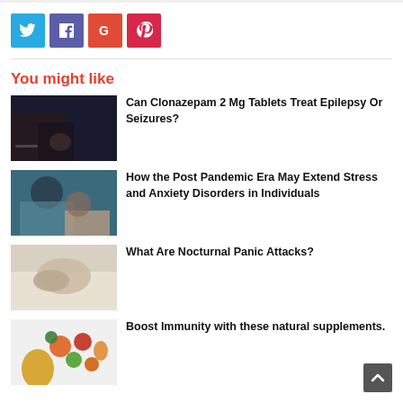[Figure (other): Social media share buttons: Twitter (blue), Facebook (purple), Google+ (orange-red), Pinterest (red)]
You might like
[Figure (photo): Dark image of a person sitting in a dim room, appears to be in distress]
Can Clonazepam 2 Mg Tablets Treat Epilepsy Or Seizures?
[Figure (photo): Person helping another person who appears to be having a seizure or anxiety episode]
How the Post Pandemic Era May Extend Stress and Anxiety Disorders in Individuals
[Figure (photo): Person lying in bed, appears to be sleeping or having a panic attack]
What Are Nocturnal Panic Attacks?
[Figure (photo): Colorful natural supplements, vitamins, and a golden capsule]
Boost Immunity with these natural supplements.